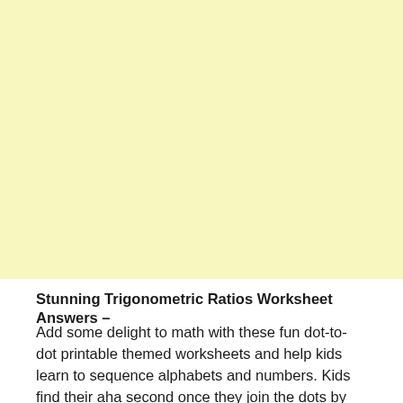[Figure (other): Large pale yellow rectangle occupying the top portion of the page, approximately two-thirds of the page height.]
Stunning Trigonometric Ratios Worksheet Answers –
Add some delight to math with these fun dot-to-dot printable themed worksheets and help kids learn to sequence alphabets and numbers. Kids find their aha second once they join the dots by skip counting to disclose the thriller photos. Our spelling worksheets